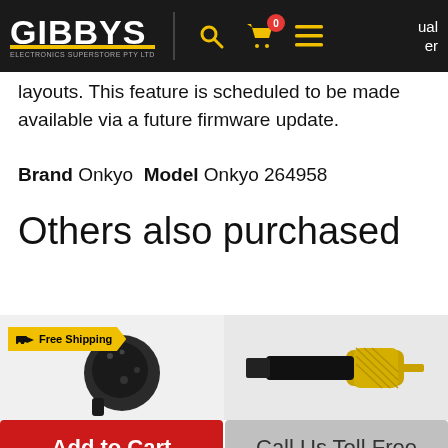GIBBYS — navigation bar with logo, search, cart (0), menu icons
layouts. This feature is scheduled to be made available via a future firmware update.
Brand Onkyo  Model Onkyo 264958
Others also purchased
[Figure (photo): Product thumbnail: wireless earbud/headphone with Free Shipping badge]
[Figure (photo): Product thumbnail: gold RCA connector/plug]
Add to Cart
Call Us Toll Free